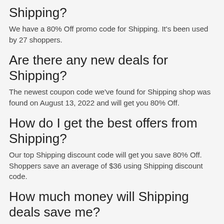Shipping?
We have a 80% Off promo code for Shipping. It's been used by 27 shoppers.
Are there any new deals for Shipping?
The newest coupon code we've found for Shipping shop was found on August 13, 2022 and will get you 80% Off.
How do I get the best offers from Shipping?
Our top Shipping discount code will get you save 80% Off. Shoppers save an average of $36 using Shipping discount code.
How much money will Shipping deals save me?
The average shoppers save $36 off their total when they